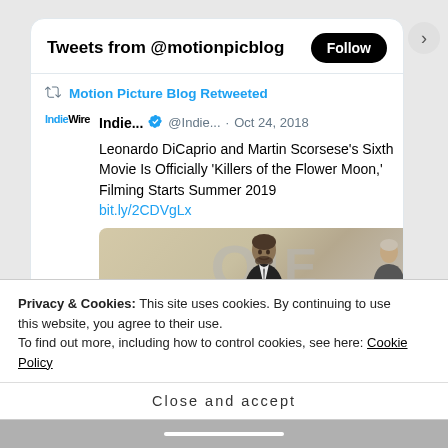Tweets from @motionpicblog
Motion Picture Blog Retweeted
Indie... @Indie... · Oct 24, 2018
Leonardo DiCaprio and Martin Scorsese's Sixth Movie Is Officially 'Killers of the Flower Moon,' Filming Starts Summer 2019 bit.ly/2CDVgLx
[Figure (photo): Photo of Leonardo DiCaprio at an event with large letters in background]
Privacy & Cookies: This site uses cookies. By continuing to use this website, you agree to their use. To find out more, including how to control cookies, see here: Cookie Policy
Close and accept